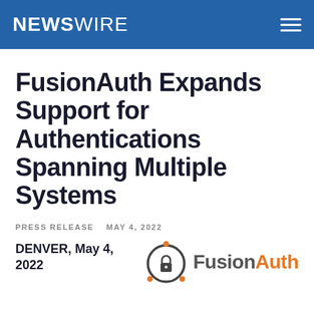NEWSWIRE
FusionAuth Expands Support for Authentications Spanning Multiple Systems
PRESS RELEASE   MAY 4, 2022
DENVER, May 4, 2022
[Figure (logo): FusionAuth logo: circular icon with lock and dots, followed by wordmark 'FusionAuth' in dark gray and orange]